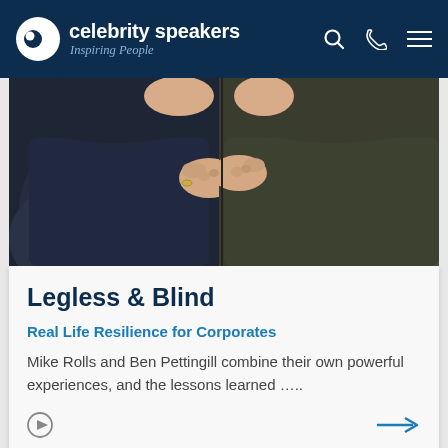celebrity speakers — Inspiring People
[Figure (photo): Close-up photo of two people sitting side by side, wearing dark knitwear sweaters, arms crossed or resting, torsos and hands visible]
Legless & Blind
Real Life Resilience for Corporates
Mike Rolls and Ben Pettingill combine their own powerful experiences, and the lessons learned …..